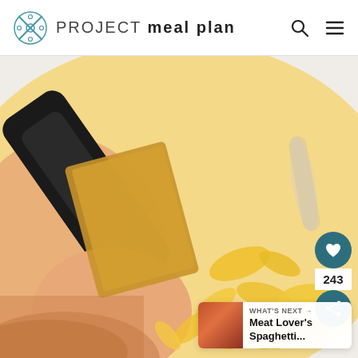PROJECT meal plan
[Figure (photo): Close-up photo of a hand using a bench scraper or dough cutter to cut fresh pasta dough into wide pappardelle noodles on a white surface, with a rolling pin visible in the background]
243
WHAT'S NEXT → Meat Lover's Spaghetti...